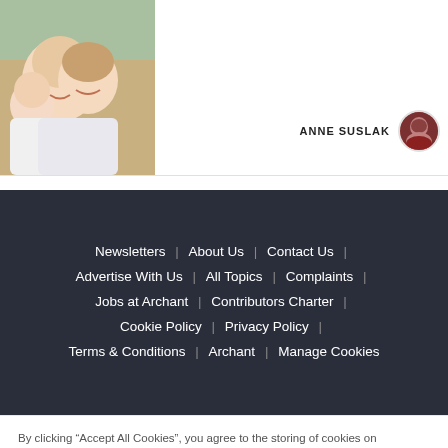[Figure (photo): Photo of a woman and a young child smiling outdoors]
ANNE SUSLAK
[Figure (photo): Small circular avatar photo of Anne Suslak]
Newsletters | About Us | Contact Us | Advertise With Us | All Topics | Complaints | Jobs at Archant | Contributors Charter | Cookie Policy | Privacy Policy | Terms & Conditions | Archant | Manage Cookies
By clicking “Accept All Cookies”, you agree to the storing of cookies on your device to enhance site navigation, analyze site usage, and assist in our marketing efforts.
Cookies Settings
Accept All Cookies